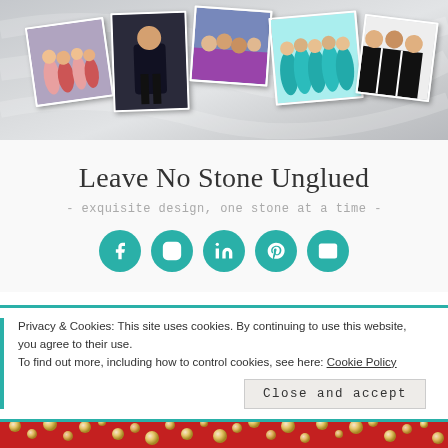[Figure (photo): Website header banner showing a collage of five photos of dancers/performers on a silk-textured background]
Leave No Stone Unglued
- exquisite design, one stone at a time -
[Figure (infographic): Row of five teal circular social media icon buttons: Facebook, Instagram, LinkedIn, Pinterest, Email]
Privacy & Cookies: This site uses cookies. By continuing to use this website, you agree to their use.
To find out more, including how to control cookies, see here: Cookie Policy
Close and accept
[Figure (photo): Bottom strip showing red fabric with rhinestone/crystal decorations]